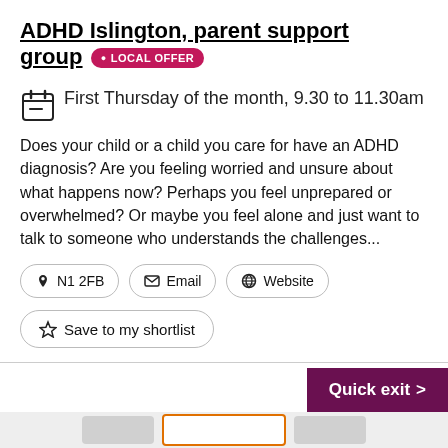ADHD Islington, parent support group • LOCAL OFFER
First Thursday of the month, 9.30 to 11.30am
Does your child or a child you care for have an ADHD diagnosis? Are you feeling worried and unsure about what happens now? Perhaps you feel unprepared or overwhelmed? Or maybe you feel alone and just want to talk to someone who understands the challenges...
N1 2FB | Email | Website
Save to my shortlist
Quick exit >